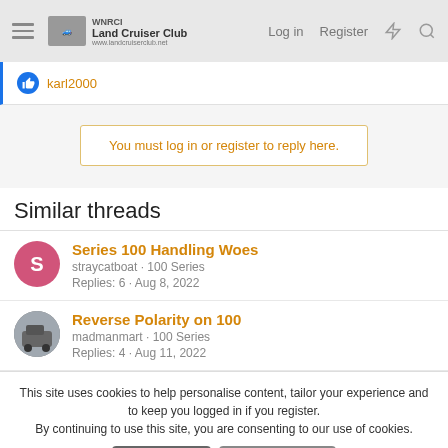Land Cruiser Club — Log in | Register
karl2000
You must log in or register to reply here.
Similar threads
Series 100 Handling Woes — straycatboat · 100 Series — Replies: 6 · Aug 8, 2022
Reverse Polarity on 100 — madmanmart · 100 Series — Replies: 4 · Aug 11, 2022
This site uses cookies to help personalise content, tailor your experience and to keep you logged in if you register. By continuing to use this site, you are consenting to our use of cookies.